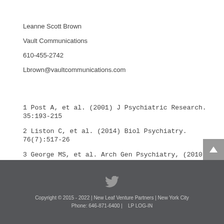Leanne Scott Brown
Vault Communications
610-455-2742
Lbrown@vaultcommunications.com
1 Post A, et al. (2001) J Psychiatric Research. 35:193-215
2 Liston C, et al. (2014) Biol Psychiatry. 76(7):517-26
3 George MS, et al. Arch Gen Psychiatry, (2010)
Copyright © 2015 - 2022 | New Leaf Venture Partners | New York City  Phone: 646-871-6400 |   LP LOG-IN